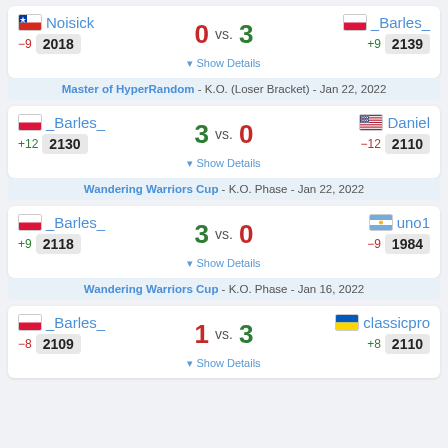| Player 1 | Score | Player 2 |
| --- | --- | --- |
| Noisick (CL, -9, 2018) | 0 vs. 3 | _Barles_ (PL, +9, 2139) |
▾ Show Details
Master of HyperRandom - K.O. (Loser Bracket) - Jan 22, 2022
| Player 1 | Score | Player 2 |
| --- | --- | --- |
| _Barles_ (PL, +12, 2130) | 3 vs. 0 | Daniel (US, -12, 2110) |
▾ Show Details
Wandering Warriors Cup - K.O. Phase - Jan 22, 2022
| Player 1 | Score | Player 2 |
| --- | --- | --- |
| _Barles_ (PL, +9, 2118) | 3 vs. 0 | uno1 (AR, -9, 1984) |
▾ Show Details
Wandering Warriors Cup - K.O. Phase - Jan 16, 2022
| Player 1 | Score | Player 2 |
| --- | --- | --- |
| _Barles_ (PL, -8, 2109) | 1 vs. 3 | classicpro (UA, +8, 2110) |
▾ Show Details